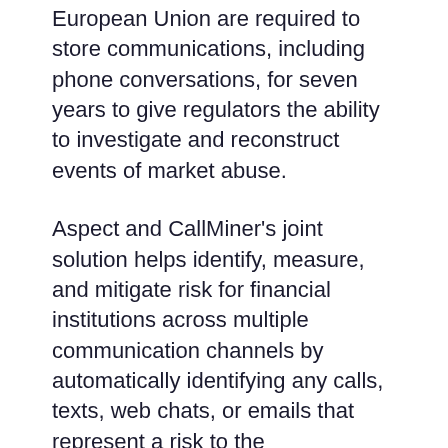European Union are required to store communications, including phone conversations, for seven years to give regulators the ability to investigate and reconstruct events of market abuse.
Aspect and CallMiner's joint solution helps identify, measure, and mitigate risk for financial institutions across multiple communication channels by automatically identifying any calls, texts, web chats, or emails that represent a risk to the organization's compliance. The solution brings data from disparate systems together to enable easy reconstruction of transaction records that are necessary to demonstrate compliance required for the seven-year period and do so across any dimension, e.g. by caller ID, banker, product, date and time, etc.
Stephen Ball, Aspect's Senior VP Europe &